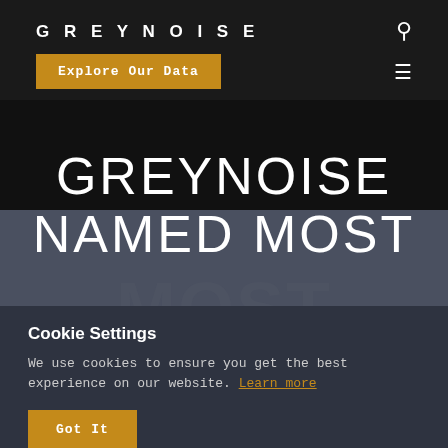GREYNOISE
Explore Our Data
GREYNOISE NAMED MOST
Cookie Settings
We use cookies to ensure you get the best experience on our website. Learn more
Got It